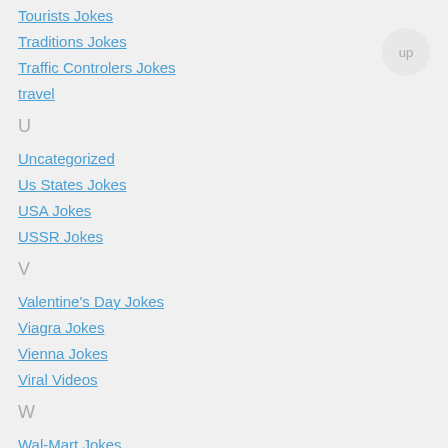Tourists Jokes
Traditions Jokes
Traffic Controlers Jokes
travel
U
Uncategorized
Us States Jokes
USA Jokes
USSR Jokes
V
Valentine's Day Jokes
Viagra Jokes
Vienna Jokes
Viral Videos
W
Wal-Mart Jokes
Walmart